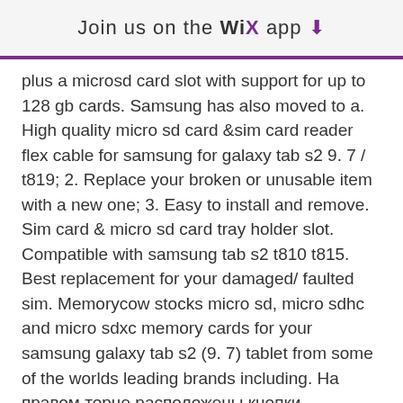Join us on the WiX app ↓
plus a microsd card slot with support for up to 128 gb cards. Samsung has also moved to a. High quality micro sd card &amp;sim card reader flex cable for samsung for galaxy tab s2 9. 7 / t819; 2. Replace your broken or unusable item with a new one; 3. Easy to install and remove. Sim card &amp; micro sd card tray holder slot. Compatible with samsung tab s2 t810 t815. Best replacement for your damaged/ faulted sim. Memorycow stocks micro sd, micro sdhc and micro sdxc memory cards for your samsung galaxy tab s2 (9. 7) tablet from some of the worlds leading brands including. На правом торце расположены кнопки регулировки громкости и отсеки для sim-карты и карты microsd. Еще у samsung galaxy tab s2 9. Shop micro sd card reader flex cable for galaxy tab s2 9.